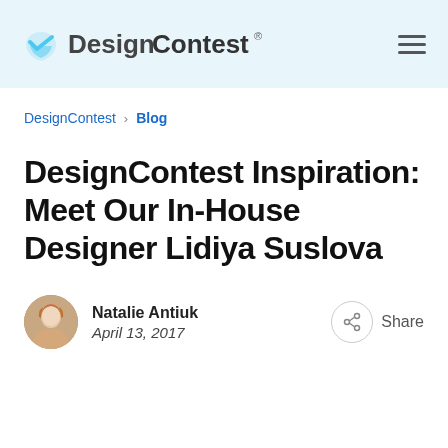DesignContest®
DesignContest › Blog
DesignContest Inspiration: Meet Our In-House Designer Lidiya Suslova
Natalie Antiuk
April 13, 2017
Share